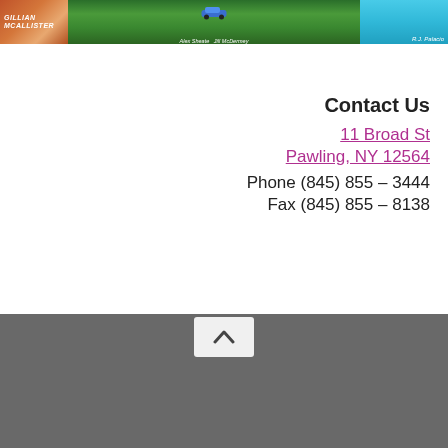[Figure (illustration): Three book covers side by side: left is Gillian McAllister book with warm orange/red tones, center is a book with green foliage and a blue car by Alex Sheeds and Jill McDermey, right is a book by R.J. Palacio with teal/blue background]
Contact Us
11 Broad St
Pawling, NY 12564
Phone (845) 855 – 3444
Fax (845) 855 – 8138
[Figure (illustration): Scroll-to-top button (upward chevron/caret icon) on a gray background bar]
[Figure (illustration): Gray footer bar]